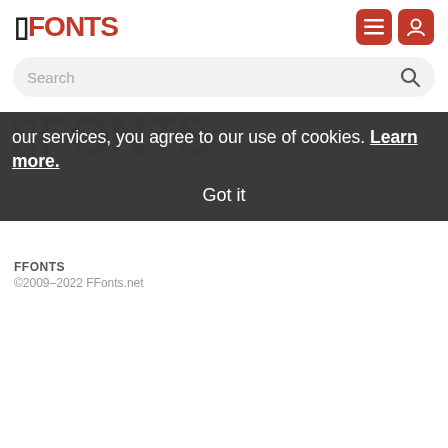[Figure (logo): FFonts logo in red and black, with hamburger menu and user account icons in red square buttons]
[Figure (screenshot): Search bar with rounded rectangle shape and magnifying glass icon]
our services, you agree to our use of cookies. Learn more.
Got it
[Figure (logo): FFonts watermark logo in dark gray]
FFONTS
©2009–2022 FFonts.net